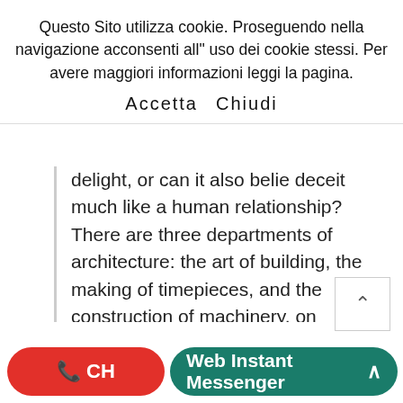Questo Sito utilizza cookie. Proseguendo nella navigazione acconsenti all" uso dei cookie stessi. Per avere maggiori informazioni leggi la pagina.
Accetta   Chiudi
delight, or can it also belie deceit much like a human relationship? There are three departments of architecture: the art of building, the making of timepieces, and the construction of machinery. on September 29, 2013 September 29, 2013 By rmgamble. Venustas; Utilitas; Firmitas; Load Previous Page Utilitas. Home. Menu. What We Can Design + Build for You. Chapter III.) Firmitas, Utilitas et Venustas. And yet, the question about firmitas is an interesting subject for contemporary architecture. Arts. Design
CH
Web Instant Messenger